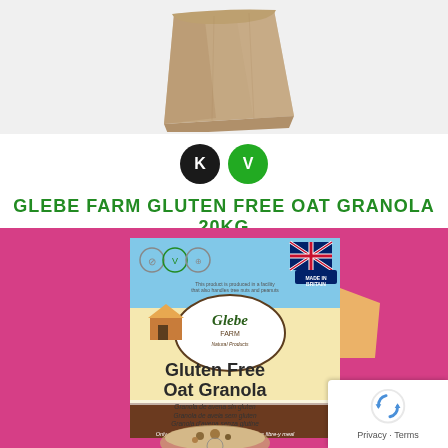[Figure (photo): Brown paper bag product photo on light grey background]
[Figure (infographic): Two circular badges: black circle with white K, green circle with white V]
GLEBE FARM GLUTEN FREE OAT GRANOLA 20KG
[Figure (photo): Glebe Farm Gluten Free Oat Granola product package on pink/magenta background. Package shows Glebe Farm logo, 'Gluten Free Oat Granola' in large text, multilingual text: 'Granola de avena sin gluten / Granola de aveia sem gluten / Granola d'avena senza glutine', 'Only pure wholegrain oats - for a crumptious fibre-y meal', UK Made in Britain flag, and various dietary icons.]